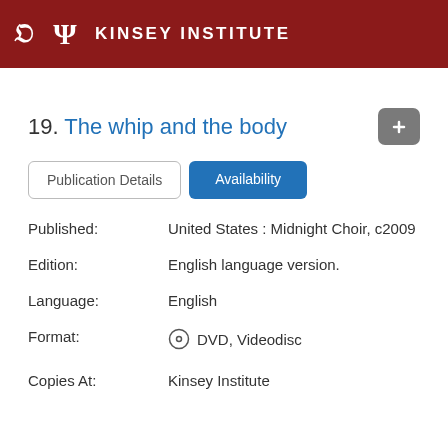KINSEY INSTITUTE
19. The whip and the body
Publication Details | Availability (tabs)
Published: United States : Midnight Choir, c2009
Edition: English language version.
Language: English
Format: DVD, Videodisc
Copies At: Kinsey Institute